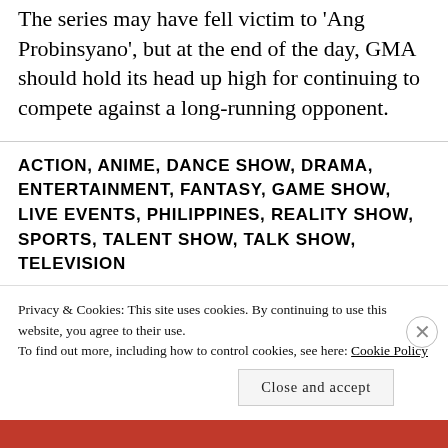The series may have fell victim to 'Ang Probinsyano', but at the end of the day, GMA should hold its head up high for continuing to compete against a long-running opponent.
ACTION, ANIME, DANCE SHOW, DRAMA, ENTERTAINMENT, FANTASY, GAME SHOW, LIVE EVENTS, PHILIPPINES, REALITY SHOW, SPORTS, TALENT SHOW, TALK SHOW, TELEVISION
Privacy & Cookies: This site uses cookies. By continuing to use this website, you agree to their use. To find out more, including how to control cookies, see here: Cookie Policy